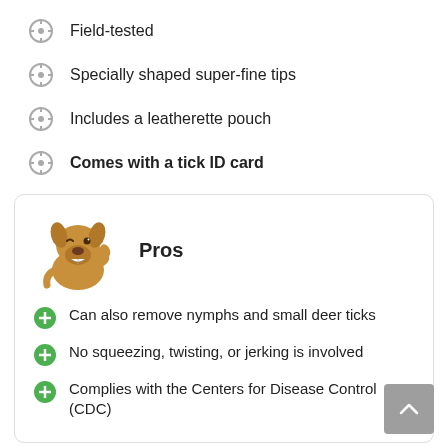Field-tested
Specially shaped super-fine tips
Includes a leatherette pouch
Comes with a tick ID card
[Figure (illustration): Cartoon dog giving thumbs up, next to the word Pros]
Can also remove nymphs and small deer ticks
No squeezing, twisting, or jerking is involved
Complies with the Centers for Disease Control (CDC)